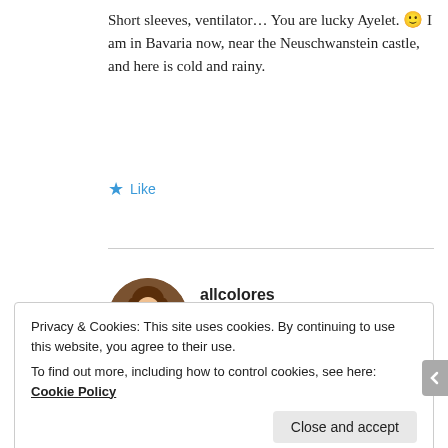Short sleeves, ventilator... You are lucky Ayelet. 🙂 I am in Bavaria now, near the Neuschwanstein castle, and here is cold and rainy.
★ Like
allcolores — November 5, 2012 at 1:40 pm — Reply
[Figure (photo): Circular avatar photo of a woman with long brown hair wearing a striped top, set against a warm brown background.]
Haha, I'm willing to switch places with you, Victor! I
Privacy & Cookies: This site uses cookies. By continuing to use this website, you agree to their use.
To find out more, including how to control cookies, see here: Cookie Policy
Close and accept